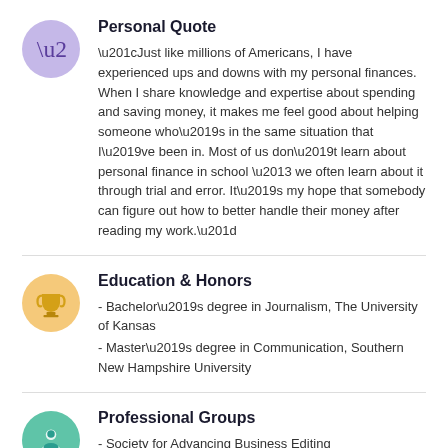Personal Quote
“Just like millions of Americans, I have experienced ups and downs with my personal finances. When I share knowledge and expertise about spending and saving money, it makes me feel good about helping someone who’s in the same situation that I’ve been in. Most of us don’t learn about personal finance in school – we often learn about it through trial and error. It’s my hope that somebody can figure out how to better handle their money after reading my work.”
Education & Honors
- Bachelor’s degree in Journalism, The University of Kansas
- Master’s degree in Communication, Southern New Hampshire University
Professional Groups
- Society for Advancing Business Editing